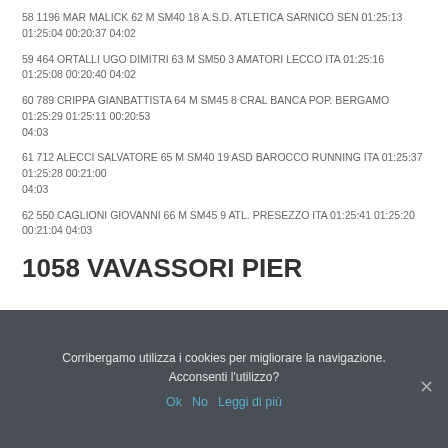58 1196 MAR MALICK 62 M SM40 18 A.S.D. ATLETICA SARNICO SEN 01:25:13 01:25:04 00:20:37 04:02
59 464 ORTALLI UGO DIMITRI 63 M SM50 3 AMATORI LECCO ITA 01:25:16 01:25:08 00:20:40 04:02
60 789 CRIPPA GIANBATTISTA 64 M SM45 8 CRAL BANCA POP. BERGAMO 01:25:29 01:25:11 00:20:53 04:03
61 712 ALECCI SALVATORE 65 M SM40 19 ASD BAROCCO RUNNING ITA 01:25:37 01:25:28 00:21:00 04:03
62 550 CAGLIONI GIOVANNI 66 M SM45 9 ATL. PRESEZZO ITA 01:25:41 01:25:20 00:21:04 04:03
1058 VAVASSORI PIER
Corribergamo utilizza i cookies per migliorare la navigazione. Acconsenti l'utilizzo? Ok No Leggi di più